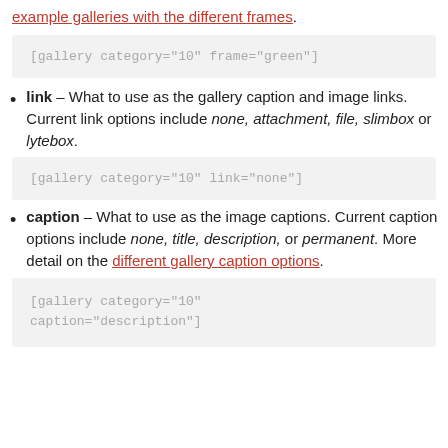example galleries with the different frames.
[gallery category="10" frame="green"]
link – What to use as the gallery caption and image links. Current link options include none, attachment, file, slimbox or lytebox.
[gallery category="10" link="none"]
caption – What to use as the image captions. Current caption options include none, title, description, or permanent. More detail on the different gallery caption options.
[gallery category="10"
caption="description"]